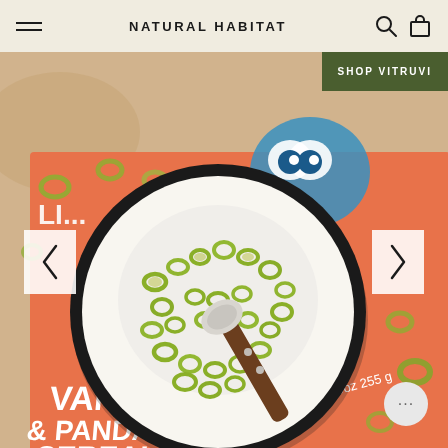NATURAL HABITAT
SHOP VITRUVI
[Figure (photo): Overhead view of a black-rimmed bowl filled with green pandan cereal loops in milk with a spoon resting in it, placed on top of an orange cereal box labeled 'VANILLA & PANDAN CEREAL' with Net wt. 9oz 255g, on a wooden background with scattered cereal rings]
VANILLA & PANDAN CEREAL
Net wt. 9oz 255g